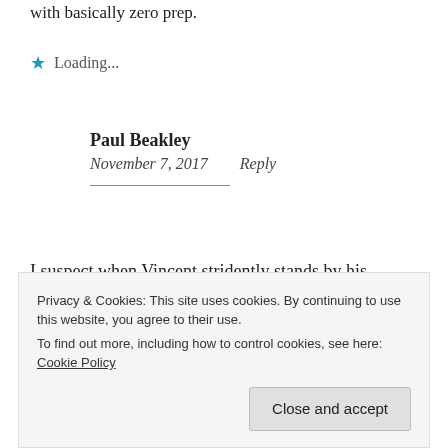with basically zero prep.
Loading...
Paul Beakley
November 7, 2017    Reply
I suspect when Vincent stridently stands by his statement that AW is “a traditional game,” this is the sort of thing he’s talking about. The all-
Privacy & Cookies: This site uses cookies. By continuing to use this website, you agree to their use.
To find out more, including how to control cookies, see here: Cookie Policy
Close and accept